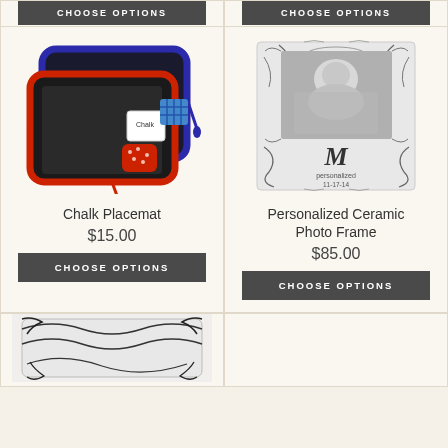[Figure (other): Choose Options button at top left (partial, cropped)]
[Figure (other): Choose Options button at top right (partial, cropped)]
[Figure (photo): Product photo of Chalk Placemat - two chalkboard placemats (blue and red bordered) with chalk and eraser accessories]
Chalk Placemat
$15.00
CHOOSE OPTIONS
[Figure (photo): Product photo of Personalized Ceramic Photo Frame - decorative ceramic frame with ornate pattern, showing a baby photo and monogram letter M]
Personalized Ceramic Photo Frame
$85.00
CHOOSE OPTIONS
[Figure (photo): Bottom left product photo (partially visible, decorative black and white pattern)]
[Figure (other): Bottom right cell (empty/white)]